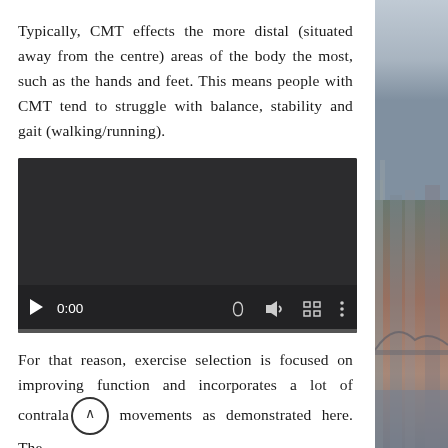Typically, CMT effects the more distal (situated away from the centre) areas of the body the most, such as the hands and feet. This means people with CMT tend to struggle with balance, stability and gait (walking/running).
[Figure (screenshot): Embedded video player showing a dark/black screen with playback controls: play button, time display showing 0:00, volume icon, fullscreen icon, more options icon, and a progress bar at the bottom.]
For that reason, exercise selection is focused on improving function and incorporates a lot of contralateral movements as demonstrated here. The
[Figure (photo): Partial photograph of a cityscape showing rooftops, a bridge, and buildings under a grey sky, positioned on the right side of the page.]